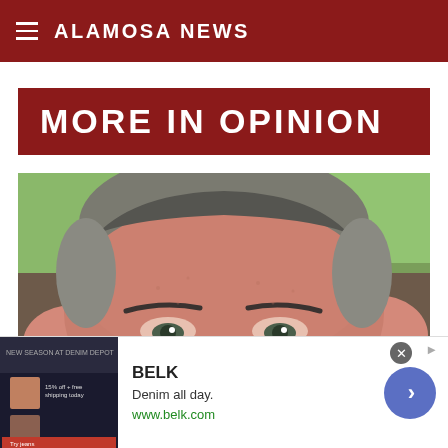ALAMOSA NEWS
MORE IN OPINION
[Figure (photo): Close-up portrait photo of a middle-aged man with gray-brown hair and gray eyebrows, looking at the camera. Green/leafy background visible.]
[Figure (other): Advertisement banner for BELK: 'Denim all day.' with URL www.belk.com, thumbnail image on the left, and a blue navigation arrow button on the right.]